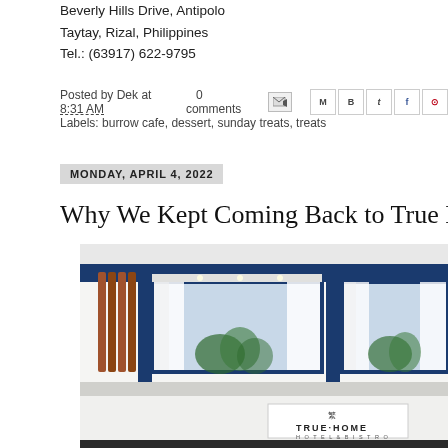Beverly Hills Drive, Antipolo
Taytay, Rizal, Philippines
Tel.: (63917) 622-9795
Posted by Dek at 8:31 AM   0 comments
Labels: burrow cafe, dessert, sunday treats, treats
MONDAY, APRIL 4, 2022
Why We Kept Coming Back to True Hom
[Figure (photo): Exterior photo of True Home Hotel & Bistro showing blue-framed windows, white facade, curtains, tropical plants, and a True Home Hotel & Bistro sign at the bottom right.]